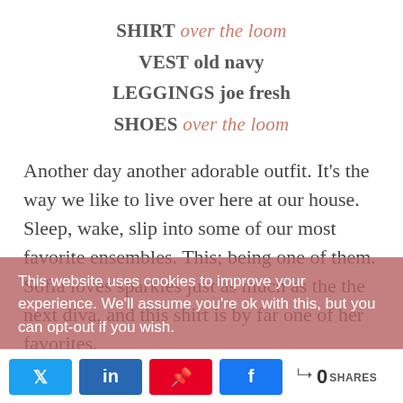SHIRT over the loom
VEST old navy
LEGGINGS joe fresh
SHOES over the loom
Another day another adorable outfit. It's the way we like to live over here at our house. Sleep, wake, slip into some of our most favorite ensembles. This; being one of them. Sofia loves sparkles just as much as the the next diva, and this shirt is by far one of her favorites.
This website uses cookies to improve your experience. We'll assume you're ok with this, but you can opt-out if you wish.
0 SHARES